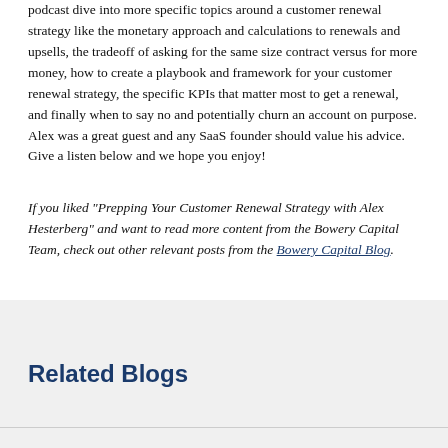podcast dive into more specific topics around a customer renewal strategy like the monetary approach and calculations to renewals and upsells, the tradeoff of asking for the same size contract versus for more money, how to create a playbook and framework for your customer renewal strategy, the specific KPIs that matter most to get a renewal, and finally when to say no and potentially churn an account on purpose. Alex was a great guest and any SaaS founder should value his advice. Give a listen below and we hope you enjoy!
If you liked "Prepping Your Customer Renewal Strategy with Alex Hesterberg" and want to read more content from the Bowery Capital Team, check out other relevant posts from the Bowery Capital Blog.
Related Blogs